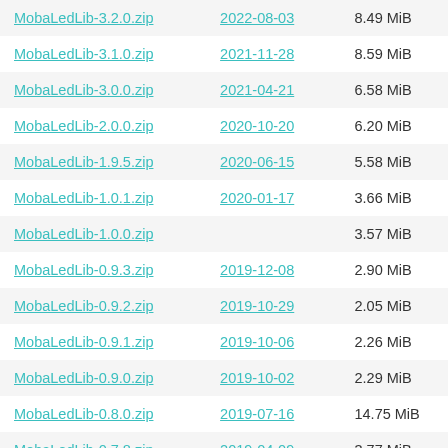| Name | Date | Size |
| --- | --- | --- |
| MobaLedLib-3.2.0.zip | 2022-08-03 | 8.49 MiB |
| MobaLedLib-3.1.0.zip | 2021-11-28 | 8.59 MiB |
| MobaLedLib-3.0.0.zip | 2021-04-21 | 6.58 MiB |
| MobaLedLib-2.0.0.zip | 2020-10-20 | 6.20 MiB |
| MobaLedLib-1.9.5.zip | 2020-06-15 | 5.58 MiB |
| MobaLedLib-1.0.1.zip | 2020-01-17 | 3.66 MiB |
| MobaLedLib-1.0.0.zip |  | 3.57 MiB |
| MobaLedLib-0.9.3.zip | 2019-12-08 | 2.90 MiB |
| MobaLedLib-0.9.2.zip | 2019-10-29 | 2.05 MiB |
| MobaLedLib-0.9.1.zip | 2019-10-06 | 2.26 MiB |
| MobaLedLib-0.9.0.zip | 2019-10-02 | 2.29 MiB |
| MobaLedLib-0.8.0.zip | 2019-07-16 | 14.75 MiB |
| MobaLedLib-0.7.8.zip | 2019-04-09 | 3.77 MiB |
| MobaLedLib-0.7.7.zip | 2019-02-17 | 4.00 MiB |
| MobaLedLib-0.7.5.zip | 2019-01-19 | 4.10 MiB |